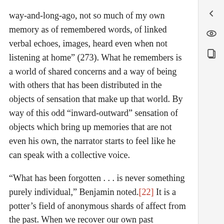way-and-long-ago, not so much of my own memory as of remembered words, of linked verbal echoes, images, heard even when not listening at home” (273). What he remembers is a world of shared concerns and a way of being with others that has been distributed in the objects of sensation that make up that world. By way of this odd “inward-outward” sensation of objects which bring up memories that are not even his own, the narrator starts to feel like he can speak with a collective voice.
“What has been forgotten . . . is never something purely individual,” Benjamin noted.[22] It is a potter’s field of anonymous shards of affect from the past. When we recover our own past experiences in that field, their simultaneously singular and plural quality is disclosed. So, as the “shabby chairs, these heavy old-fashioned pressing irons, zinc wash tubs with dented bottoms”